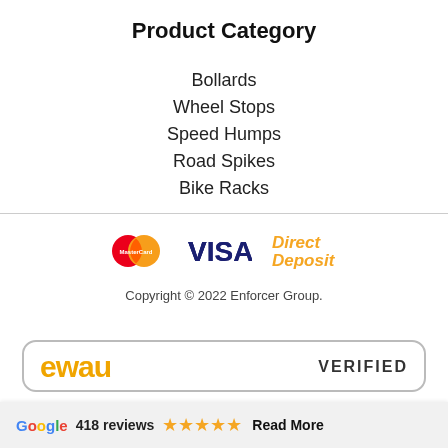Product Category
Bollards
Wheel Stops
Speed Humps
Road Spikes
Bike Racks
[Figure (logo): Payment method logos: MasterCard, VISA, Direct Deposit]
Copyright © 2022 Enforcer Group.
[Figure (logo): eWAY verified badge with ewau logo and VERIFIED text]
Google 418 reviews ★★★★★ Read More